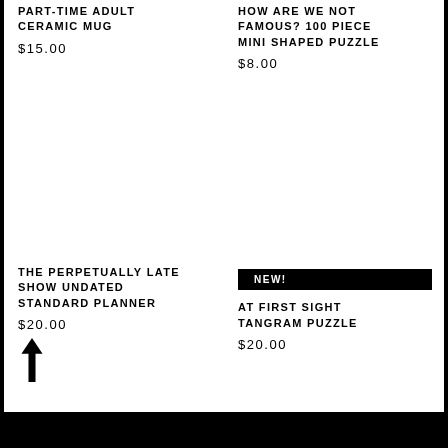PART-TIME ADULT CERAMIC MUG
$15.00
HOW ARE WE NOT FAMOUS? 100 PIECE MINI SHAPED PUZZLE
$8.00
THE PERPETUALLY LATE SHOW UNDATED STANDARD PLANNER
$20.00
NEW!
AT FIRST SIGHT TANGRAM PUZZLE
$20.00